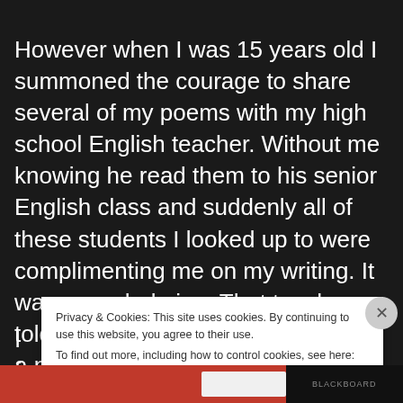However when I was 15 years old I summoned the courage to share several of my poems with my high school English teacher. Without me knowing he read them to his senior English class and suddenly all of these students I looked up to were complimenting me on my writing. It was overwhelming. That teacher told me all those years ago, you're a natural writer.
Privacy & Cookies: This site uses cookies. By continuing to use this website, you agree to their use.
To find out more, including how to control cookies, see here: Cookie Policy
Close and accept